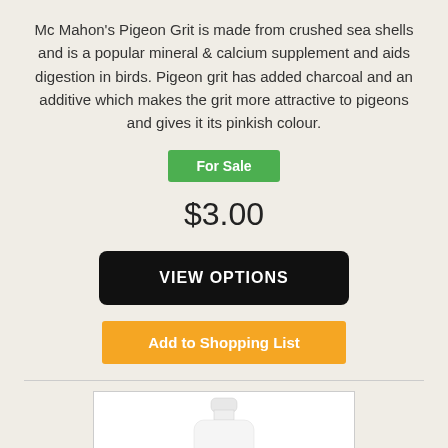Mc Mahon's Pigeon Grit is made from crushed sea shells and is a popular mineral & calcium supplement and aids digestion in birds. Pigeon grit has added charcoal and an additive which makes the grit more attractive to pigeons and gives it its pinkish colour.
For Sale
$3.00
VIEW OPTIONS
Add to Shopping List
[Figure (photo): A white bottle/container product image shown partially from the neck up against a white background inside a bordered box.]